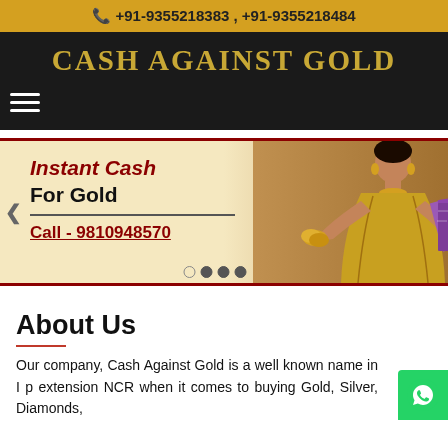📞 +91-9355218383 , +91-9355218484
CASH AGAINST GOLD
[Figure (infographic): Promotional banner with text 'Instant Cash For Gold Call - 9810948570' and image of a woman in gold saree holding gold coins and currency notes, with left navigation arrow and carousel dots]
About Us
Our company, Cash Against Gold is a well known name in I p extension NCR when it comes to buying Gold, Silver, Diamonds,